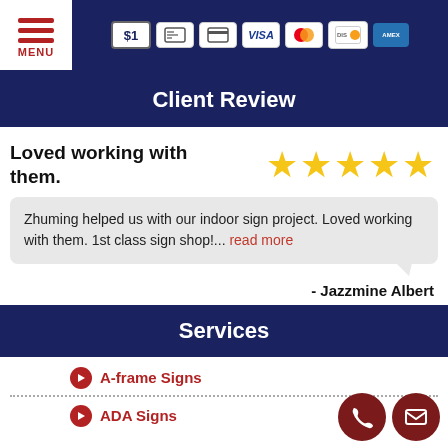[Figure (screenshot): Navigation menu icon with three red horizontal lines and MENU label, plus payment icons (cash, check, credit card, VISA, Mastercard, Discover, American Express) on dark navy background]
Client Review
Loved working with them.
[Figure (infographic): Five gold star rating icons]
Zhuming helped us with our indoor sign project. Loved working with them. 1st class sign shop!... read more
- Jazzmine Albert
Services
A-frame Signs
ADA Signs
[Figure (infographic): Phone and email contact buttons (dark red circles with phone and envelope icons)]